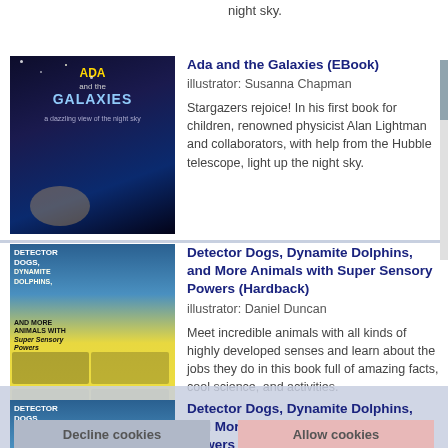night sky.
Ada and the Galaxies (EBook) illustrator: Susanna Chapman — Stargazers rejoice! In his first book for children, renowned physicist Alan Lightman and collaborators, with help from the Hubble telescope, light up the night sky.
Detector Dogs, Dynamite Dolphins, and More Animals with Super Sensory Powers (Hardback) illustrator: Daniel Duncan — Meet incredible animals with all kinds of highly developed senses and learn about the jobs they do in this book full of amazing facts, cool science, and activities.
Detector Dogs, Dynamite Dolphins, and More Animals with Super Sensory Powers (EBook) illustrator: Daniel Duncan — Meet incredible animals with all kinds of highly developed senses and learn about the jobs they do in this book full of amazing facts, cool science, and activities.